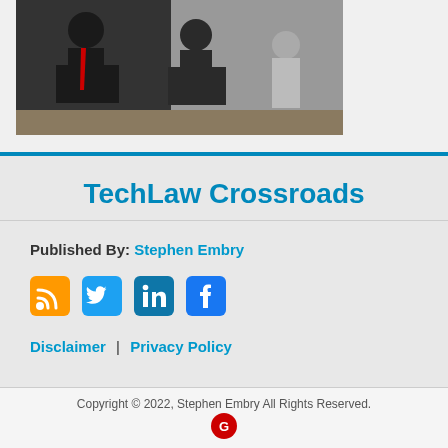[Figure (photo): A photograph showing people at what appears to be an outdoor or indoor event, partially visible at the top of the page]
TechLaw Crossroads
Published By: Stephen Embry
[Figure (infographic): Social media icons: RSS (orange), Twitter (blue), LinkedIn (dark blue), Facebook (dark blue)]
Disclaimer | Privacy Policy
Copyright © 2022, Stephen Embry All Rights Reserved.